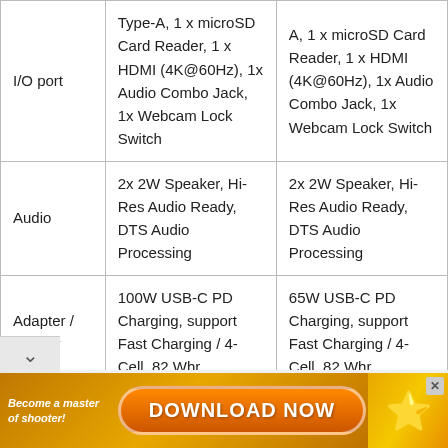|  | Model A | Model B |
| --- | --- | --- |
| I/O port | Type-A, 1 x microSD Card Reader, 1 x HDMI (4K@60Hz), 1x Audio Combo Jack, 1x Webcam Lock Switch | A, 1 x microSD Card Reader, 1 x HDMI (4K@60Hz), 1x Audio Combo Jack, 1x Webcam Lock Switch |
| Audio | 2x 2W Speaker, Hi-Res Audio Ready, DTS Audio Processing | 2x 2W Speaker, Hi-Res Audio Ready, DTS Audio Processing |
| Adapter / Battery | 100W USB-C PD Charging, support Fast Charging / 4-Cell, 82 Whr | 65W USB-C PD Charging, support Fast Charging / 4-Cell, 82 Whr |
[Figure (screenshot): Advertisement banner: 'Become a master of shooter! DOWNLOAD NOW' with orange game-themed background and star character.]